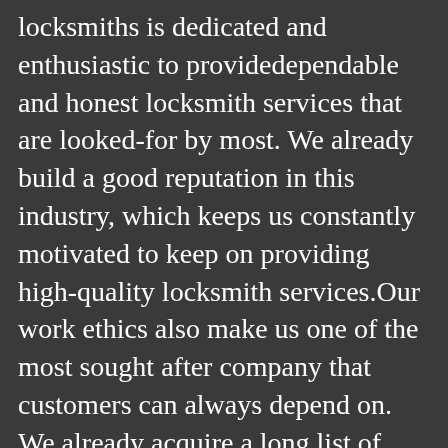locksmiths is dedicated and enthusiastic to providedependable and honest locksmith services that are looked-for by most. We already build a good reputation in this industry, which keeps us constantly motivated to keep on providing high-quality locksmith services.Our work ethics also make us one of the most sought after company that customers can always depend on. We already acquire a long list of happy and satisfied clients who are currentlyenjoying the lots of rewards right after acquiring our topnotch locksmith services. So if you also want to reap all the benefits we provide, then try our service and see what we can offer. In each and every output and project of our team, we only deploy our licensed and certified technicians who go through strict and thorough background check to make sure that our clients are always in good and safe hands.